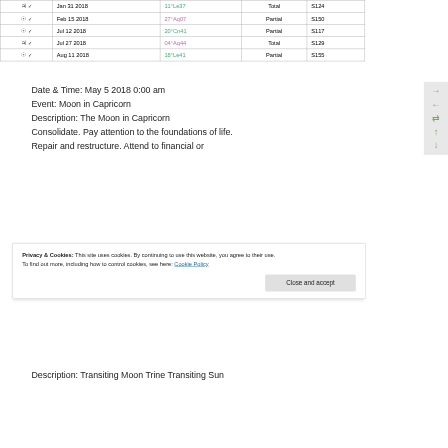| Symbol | Check | Date | Degree | Type | Series |
| --- | --- | --- | --- | --- | --- |
| ♃ | ✓ | Jan 31 2018 | 11°Le37 | Total | S124 |
| ☉ | ✓ | Feb 15 2018 | 27°Aq07 | Partial | S150 |
| ☉ | ✓ | Jul 12 2018 | 20°Cn41 | Partial | S117 |
| ♃ | ✓ | Jul 27 2018 | 04°Aq44 | Total | S129 |
| ☉ | ✓ | Aug 11 2018 | 18°Le41 | Partial | S155 |
Date & Time: May 5 2018 0:00 am
Event: Moon in Capricorn
Description: The Moon in Capricorn
Consolidate. Pay attention to the foundations of life.
Repair and restructure. Attend to financial or
Privacy & Cookies: This site uses cookies. By continuing to use this website, you agree to their use. To find out more, including how to control cookies, see here: Cookie Policy
Description: Transiting Moon Trine Transiting Sun